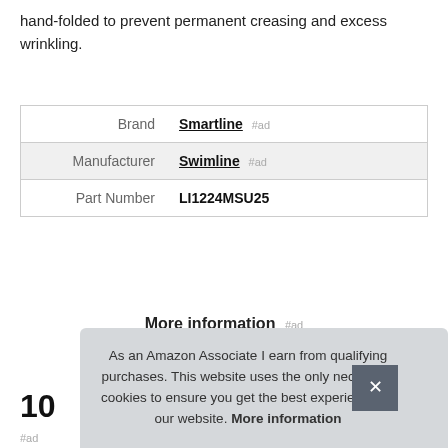hand-folded to prevent permanent creasing and excess wrinkling.
| Brand | Smartline #ad |
| Manufacturer | Swimline #ad |
| Part Number | LI1224MSU25 |
More information #ad
10
#ad
As an Amazon Associate I earn from qualifying purchases. This website uses the only necessary cookies to ensure you get the best experience on our website. More information